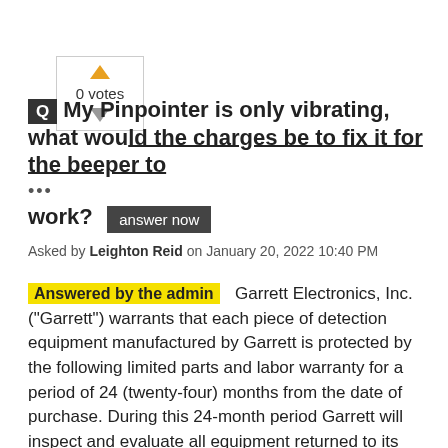[Figure (other): Vote widget with up arrow (orange triangle), '0 votes' text, and down arrow (grey triangle) inside a bordered box]
My Pinpointer is only vibrating, what would the charges be to fix it for the beeper to work?
Asked by Leighton Reid on January 20, 2022 10:40 PM
Answered by the admin   Garrett Electronics, Inc. ("Garrett") warrants that each piece of detection equipment manufactured by Garrett is protected by the following limited parts and labor warranty for a period of 24 (twenty-four) months from the date of purchase. During this 24-month period Garrett will inspect and evaluate all equipment returned to its authorized repair station or factory to determine if the equipment meets